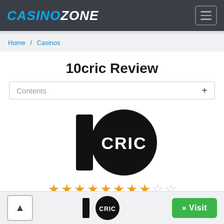CASINO ZONE
Home / Casinos
10cric Review
Contents +
[Figure (logo): 10cric logo: black rectangle with numeral '1', black circle with bold white text 'CRIC']
★★★★★★★★☆☆ (8 out of 10 stars)
» Visit